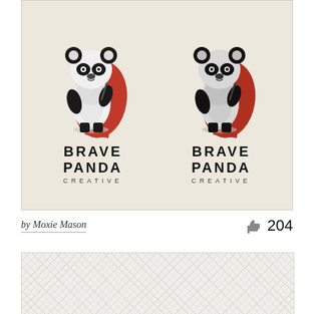[Figure (logo): Two side-by-side 'Brave Panda Creative' logos on a cream/beige background. Each logo shows a panda bear standing upright wearing a red cape and holding a stick/wand, with bold text 'BRAVE PANDA' and smaller spaced 'CREATIVE' below.]
by Moxie Mason  204
[Figure (illustration): Partially visible image at the bottom of the page with a light grey/beige background and a subtle diagonal crosshatch pattern.]